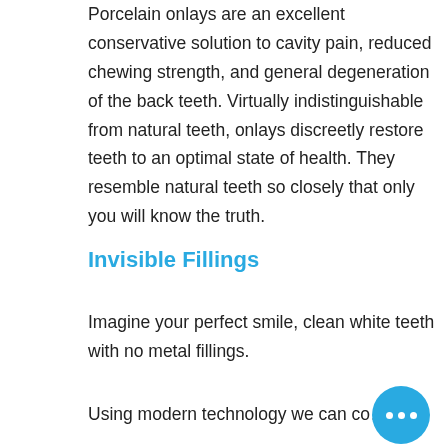Porcelain onlays are an excellent conservative solution to cavity pain, reduced chewing strength, and general degeneration of the back teeth. Virtually indistinguishable from natural teeth, onlays discreetly restore teeth to an optimal state of health. They resemble natural teeth so closely that only you will know the truth.
Invisible Fillings
Imagine your perfect smile, clean white teeth with no metal fillings.
Using modern technology we can co...